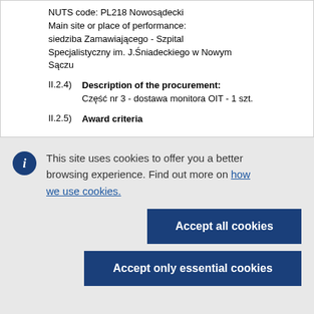NUTS code: PL218 Nowosądecki
Main site or place of performance:
siedziba Zamawiającego - Szpital Specjalistyczny im. J.Śniadeckiego w Nowym Sączu
II.2.4) Description of the procurement:
Część nr 3 - dostawa monitora OIT - 1 szt.
II.2.5) Award criteria
This site uses cookies to offer you a better browsing experience. Find out more on how we use cookies.
Accept all cookies
Accept only essential cookies